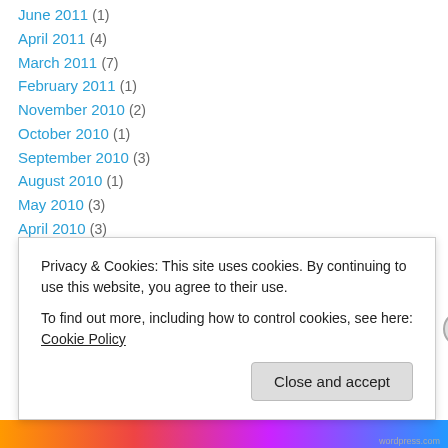June 2011 (1)
April 2011 (4)
March 2011 (7)
February 2011 (1)
November 2010 (2)
October 2010 (1)
September 2010 (3)
August 2010 (1)
May 2010 (3)
April 2010 (3)
March 2010 (5)
February 2010 (5)
January 2010 (2)
November 2009 (2)
Privacy & Cookies: This site uses cookies. By continuing to use this website, you agree to their use.
To find out more, including how to control cookies, see here: Cookie Policy